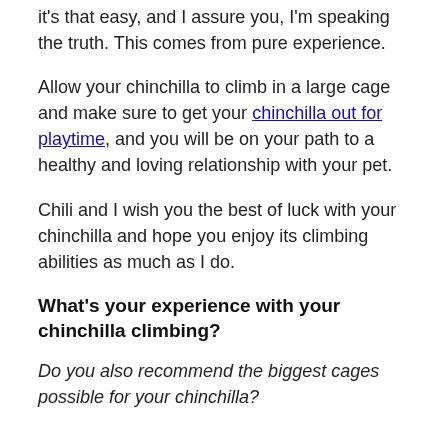it's that easy, and I assure you, I'm speaking the truth. This comes from pure experience.
Allow your chinchilla to climb in a large cage and make sure to get your chinchilla out for playtime, and you will be on your path to a healthy and loving relationship with your pet.
Chili and I wish you the best of luck with your chinchilla and hope you enjoy its climbing abilities as much as I do.
What's your experience with your chinchilla climbing?
Do you also recommend the biggest cages possible for your chinchilla?